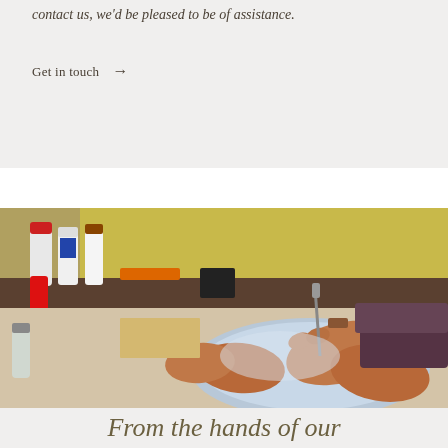contact us, we'd be pleased to be of assistance.
Get in touch →
[Figure (photo): Close-up photograph of a craftsperson's hands working on leather shoemaking or craft, using a stylus or tool on a light blue leather piece. Various spray cans and craft supplies visible on the workbench in the background. Yellow wall visible behind.]
From the hands of our